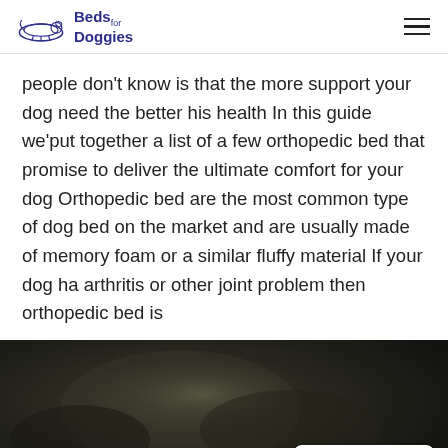Beds for Doggies
people don't know is that the more support your dog need the better his health In this guide we'put together a list of a few orthopedic bed that promise to deliver the ultimate comfort for your dog Orthopedic bed are the most common type of dog bed on the market and are usually made of memory foam or a similar fluffy material If your dog ha arthritis or other joint problem then orthopedic bed is
[Figure (photo): Dark blurred background photo of a dog bed with bold white text overlay reading 'Find the best bed that is' and a 'Made in Webflow' badge in the bottom right corner.]